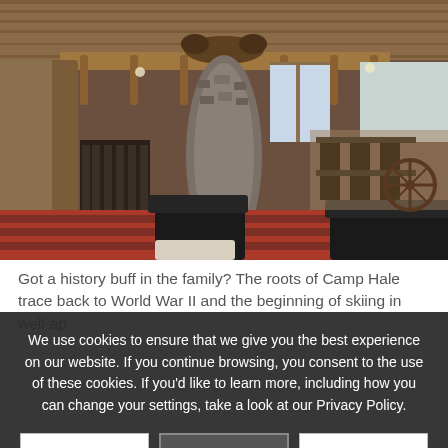[Figure (photo): Interior of a rustic lodge with wooden walls, log railings on upper level, mounted animal sculptures, a large stone fireplace/pillar in the center, leather chairs, a patterned carpet with red and dark stripes, a boot/gear rack on the left, and dining area visible on the right.]
Got a history buff in the family? The roots of Camp Hale trace back to World War II and the beginning of skiing in well-ap[preciating the area's long history, discover the origins [of skiing in the area]. Be sure to ask yo[ur guide] about the history [of the camp] if you're interes[ted].
We use cookies to ensure that we give you the best experience on our website. If you continue browsing, you consent to the use of these cookies. If you'd like to learn more, including how you can change your settings, take a look at our Privacy Policy.